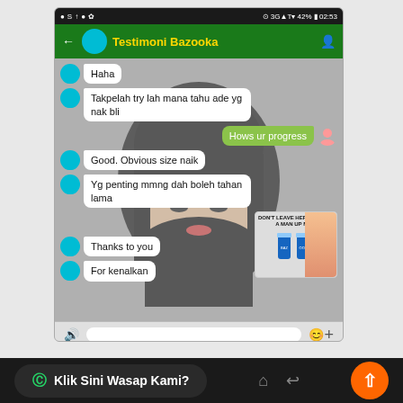[Figure (screenshot): WhatsApp chat screenshot titled 'Testimoni Bazooka' showing a conversation with messages: 'Haha', 'Takpelah try lah mana tahu ade yg nak bli', 'Hows ur progress', 'Good. Obvious size naik', 'Yg penting mmng dah boleh tahan lama', thumbs up emoji, 'Thanks to you', 'For kenalkan'. Background shows a woman's face wearing hijab. An advertisement for a product is visible.]
Klik Sini Wasap Kami?